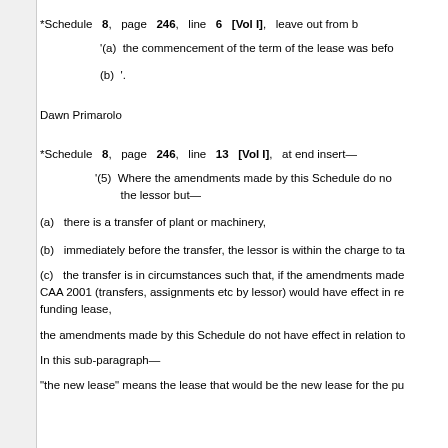*Schedule 8, page 246, line 6 [Vol I], leave out from b
'(a)  the commencement of the term of the lease was befo
(b) '.
Dawn Primarolo
*Schedule 8, page 246, line 13 [Vol I], at end insert—
'(5) Where the amendments made by this Schedule do not have effect in relation to the lessor but—
(a)   there is a transfer of plant or machinery,
(b)   immediately before the transfer, the lessor is within the charge to ta
(c)   the transfer is in circumstances such that, if the amendments made CAA 2001 (transfers, assignments etc by lessor) would have effect in re funding lease,
the amendments made by this Schedule do not have effect in relation to
In this sub-paragraph—
"the new lease" means the lease that would be the new lease for the pu